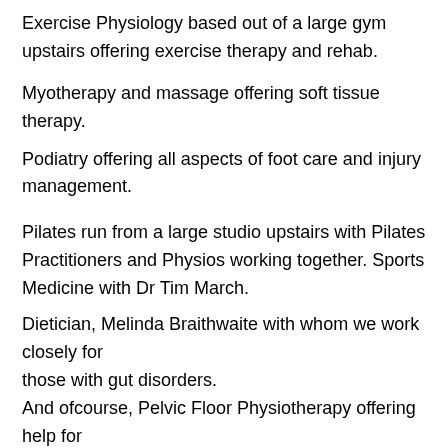Exercise Physiology based out of a large gym upstairs offering exercise therapy and rehab.
Myotherapy and massage offering soft tissue therapy.
Podiatry offering all aspects of foot care and injury management.
Pilates run from a large studio upstairs with Pilates Practitioners and Physios working together. Sports Medicine with Dr Tim March.
Dietician, Melinda Braithwaite with whom we work closely for those with gut disorders. And ofcourse, Pelvic Floor Physiotherapy offering help for all problems to do with bladder, bowel, gynaecology, prostate, pregnancy and pelvic or sexual pain.
We all feel comfortable referring to other practitioners when we know this will enhance and improve outcomes. It is great to have all the disciplines under one roof. Outer...